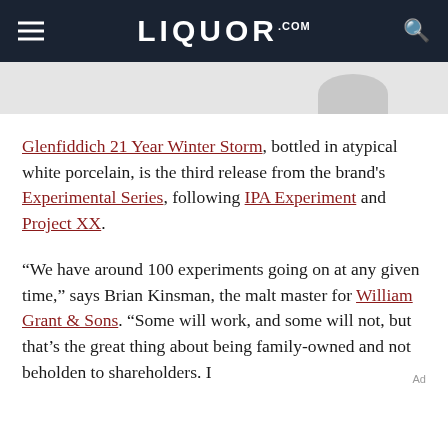LIQUOR.COM
[Figure (photo): Partial product image showing a white porcelain bottle on a light background]
Glenfiddich 21 Year Winter Storm, bottled in atypical white porcelain, is the third release from the brand's Experimental Series, following IPA Experiment and Project XX.
“We have around 100 experiments going on at any given time,” says Brian Kinsman, the malt master for William Grant & Sons. “Some will work, and some will not, but that’s the great thing about being family-owned and not beholden to shareholders. I